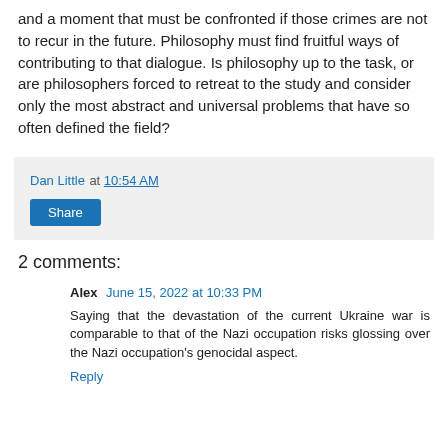and a moment that must be confronted if those crimes are not to recur in the future. Philosophy must find fruitful ways of contributing to that dialogue. Is philosophy up to the task, or are philosophers forced to retreat to the study and consider only the most abstract and universal problems that have so often defined the field?
Dan Little at 10:54 AM
Share
2 comments:
Alex June 15, 2022 at 10:33 PM
Saying that the devastation of the current Ukraine war is comparable to that of the Nazi occupation risks glossing over the Nazi occupation's genocidal aspect.
Reply